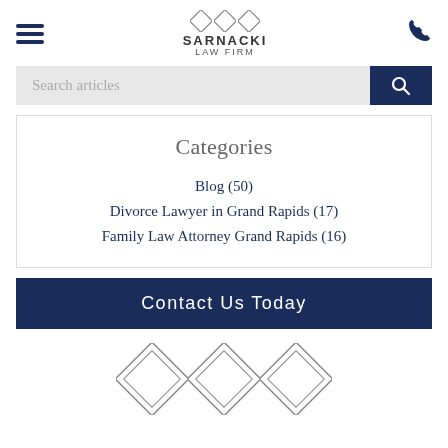[Figure (logo): Sarnacki Law Firm logo with three diamond shapes and firm name]
[Figure (screenshot): Search articles input bar with magnifying glass button]
Categories
Blog (50)
Divorce Lawyer in Grand Rapids (17)
Family Law Attorney Grand Rapids (16)
Contact Us Today
[Figure (logo): Three diamond shapes footer logo]